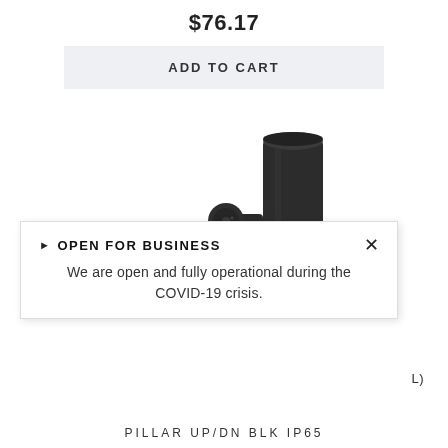$76.17
ADD TO CART
[Figure (photo): Black cylindrical pillar up/down light fixture with a side-mounted bracket, photographed on white background.]
▶ OPEN FOR BUSINESS
We are open and fully operational during the COVID-19 crisis.
L)
PILLAR UP/DN BLK IP65